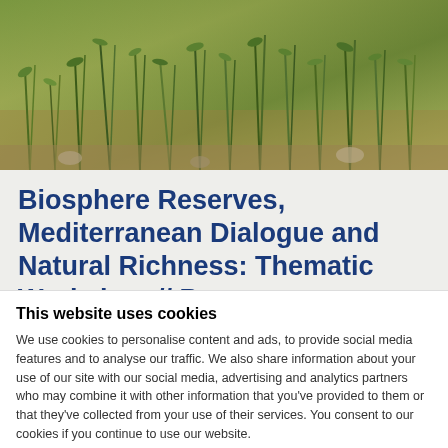[Figure (photo): Photograph of Mediterranean vegetation/grass with green plants against a natural background]
Biosphere Reserves, Mediterranean Dialogue and Natural Richness: Thematic Workshop // Bzommar, Lebanon, 29th April – 2nd May
This website uses cookies
We use cookies to personalise content and ads, to provide social media features and to analyse our traffic. We also share information about your use of our site with our social media, advertising and analytics partners who may combine it with other information that you've provided to them or that they've collected from your use of their services. You consent to our cookies if you continue to use our website.